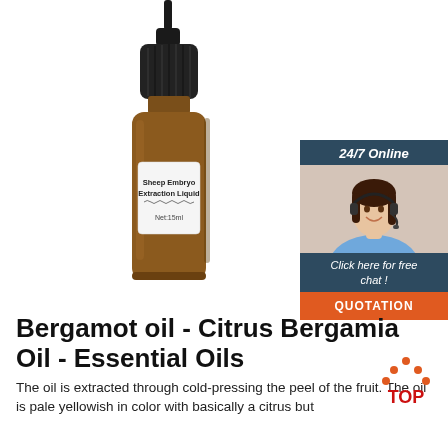[Figure (photo): A small amber glass dropper bottle labeled 'Sheep Embryo Extraction Liquid, Net:15ml' with a black dropper cap, photographed on a white background.]
[Figure (infographic): 24/7 Online chat widget showing a smiling woman with a headset, a dark blue/teal banner reading '24/7 Online', text 'Click here for free chat!' and an orange 'QUOTATION' button.]
Bergamot oil - Citrus Bergamia Oil - Essential Oils
The oil is extracted through cold-pressing the peel of the fruit. The oil is pale yellowish in color with basically a citrus but
[Figure (logo): TOP badge icon with orange dots and red text 'TOP']